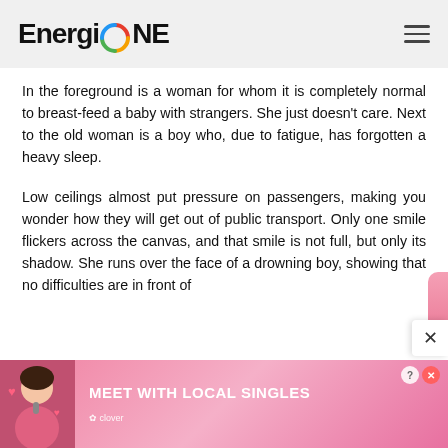EnergiONE
In the foreground is a woman for whom it is completely normal to breast-feed a baby with strangers. She just doesn't care. Next to the old woman is a boy who, due to fatigue, has forgotten a heavy sleep.
Low ceilings almost put pressure on passengers, making you wonder how they will get out of public transport. Only one smile flickers across the canvas, and that smile is not full, but only its shadow. She runs over the face of a drowning boy, showing that no difficulties are in front of
[Figure (photo): Advertisement banner: MEET WITH LOCAL SINGLES - Clover dating app ad with woman photo and hearts, pink background]